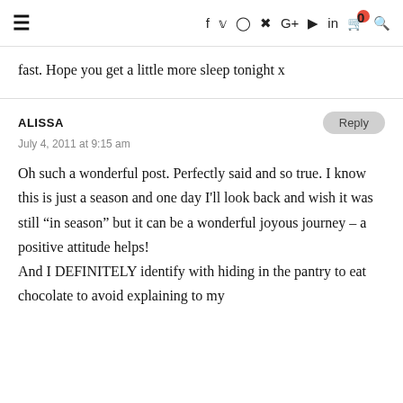Navigation header with hamburger menu and social icons (f, twitter, instagram, pinterest, G+, youtube, linkedin, cart, search)
fast. Hope you get a little more sleep tonight x
ALISSA
July 4, 2011 at 9:15 am

Oh such a wonderful post. Perfectly said and so true. I know this is just a season and one day I'll look back and wish it was still “in season” but it can be a wonderful joyous journey – a positive attitude helps!
And I DEFINITELY identify with hiding in the pantry to eat chocolate to avoid explaining to my